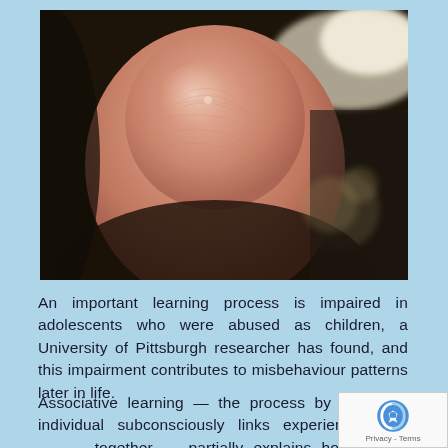[Figure (photo): Close-up macro photograph of a human fingertip against a blurred dark and light background]
An important learning process is impaired in adolescents who were abused as children, a University of Pittsburgh researcher has found, and this impairment contributes to misbehaviour patterns later in life.
Associative learning — the process by which an individual subconsciously links experiences and events together — partially explains how people generally